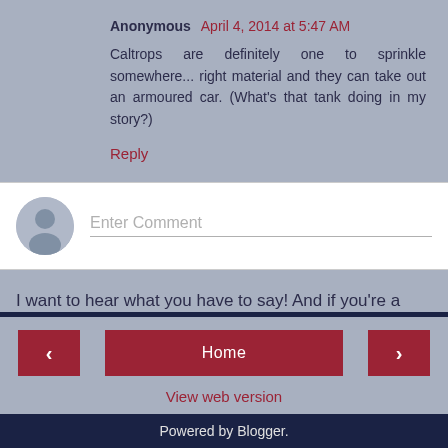Anonymous April 4, 2014 at 5:47 AM
Caltrops are definitely one to sprinkle somewhere... right material and they can take out an armoured car. (What's that tank doing in my story?)
Reply
[Figure (screenshot): Comment input box with grey avatar icon and 'Enter Comment' placeholder text]
I want to hear what you have to say! And if you're a new follower, please leave your link in the comments so I can follow you back. Thanks!
[Figure (screenshot): Navigation bar with left arrow button, Home button, and right arrow button in dark red, and View web version link below]
Powered by Blogger.